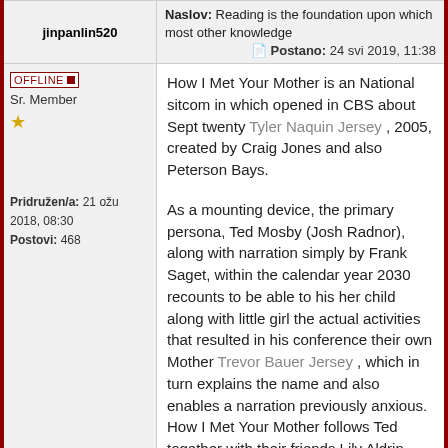| jinpanlin520 | Naslov / Postano |
| --- | --- |
| OFFLINE
Sr. Member
★
Pridružen/a: 21 ožu 2018, 08:30
Postovi: 468 | Naslov: Reading is the foundation upon which most other knowledge
Postano: 24 svi 2019, 11:38

How I Met Your Mother is an National sitcom in which opened in CBS about Sept twenty Tyler Naquin Jersey , 2005, created by Craig Jones and also Peterson Bays.

As a mounting device, the primary persona, Ted Mosby (Josh Radnor), along with narration simply by Frank Saget, within the calendar year 2030 recounts to be able to his her child along with little girl the actual activities that resulted in his conference their own Mother Trevor Bauer Jersey , which in turn explains the name and also enables a narration previously anxious. How I Met Your Mother follows Ted together with their friends Lily Aldrin (Alyson Hannigan), Marshall Eriksen (Jerrika Segel), The boy |